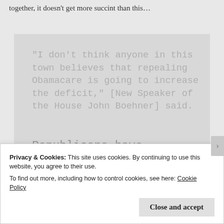together, it doesn't get more succint than this…
“I don’t think anyone in this town believes that repealing Obamacare is going to increase the deficit,” [New Speaker of the House John Boehner] said.
Republicans have exempted a repeal of the health care law
Privacy & Cookies: This site uses cookies. By continuing to use this website, you agree to their use.
To find out more, including how to control cookies, see here: Cookie Policy
Close and accept